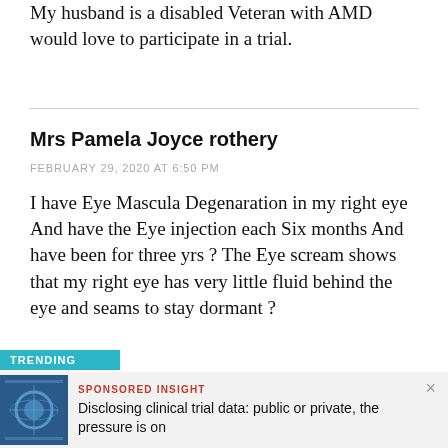My husband is a disabled Veteran with AMD would love to participate in a trial.
Mrs Pamela Joyce rothery
FEBRUARY 29, 2020 AT 6:50 PM
I have Eye Mascula Degenaration in my right eye And have the Eye injection each Six months And have been for three yrs ? The Eye scream shows that my right eye has very little fluid behind the eye and seams to stay dormant ?
TRENDING
SPONSORED INSIGHT
Disclosing clinical trial data: public or private, the pressure is on